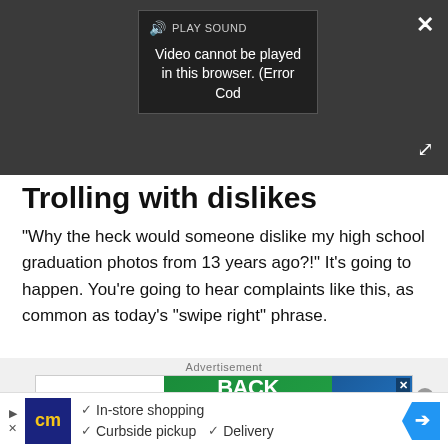[Figure (screenshot): Video player area with dark background showing a video error overlay. The overlay reads: PLAY SOUND (with speaker icon), then 'Video cannot be played in this browser. (Error Cod'. A white X close button appears top right, and an expand icon bottom right.]
Trolling with dislikes
"Why the heck would someone dislike my high school graduation photos from 13 years ago?!" It's going to happen. You're going to hear complaints like this, as common as today's "swipe right" phrase.
[Figure (screenshot): Advertisement banner. Label reads 'Advertisement'. Shows a Mac|Life magazine ad with 'BACK to SCHOOL' text on green/blue background. An X close button appears in the corner.]
[Figure (screenshot): Bottom ad bar with CarMax (cm) logo in dark blue, checkmark features: 'In-store shopping', 'Curbside pickup', 'Delivery', and a blue navigation arrow icon on the right. Navigation arrows and close circle also visible.]